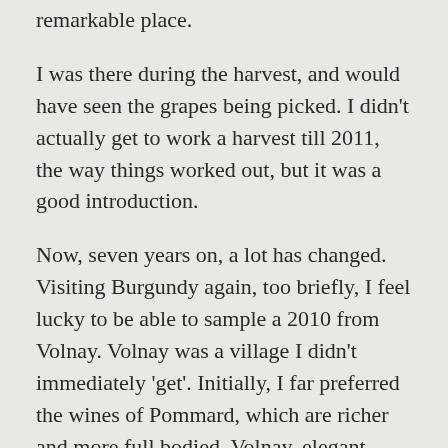remarkable place.
I was there during the harvest, and would have seen the grapes being picked. I didn't actually get to work a harvest till 2011, the way things worked out, but it was a good introduction.
Now, seven years on, a lot has changed. Visiting Burgundy again, too briefly, I feel lucky to be able to sample a 2010 from Volnay. Volnay was a village I didn't immediately 'get'. Initially, I far preferred the wines of Pommard, which are richer and more full bodied. Volnay, elegant, light, ethereal, escaped me. Over the years, I've drifted from preferring Pommard to preferring Volnay. Seven years. A lot has changed.
This particular Volnay — Bernard Delagrange's 2010 Volnay 1er cru, presumably a blend of premier cru